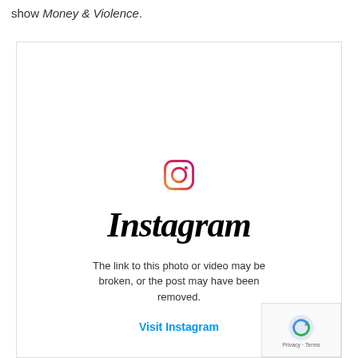show Money & Violence.
[Figure (screenshot): Instagram embedded post error: shows Instagram logo and icon with message 'The link to this photo or video may be broken, or the post may have been removed.' and a 'Visit Instagram' link.]